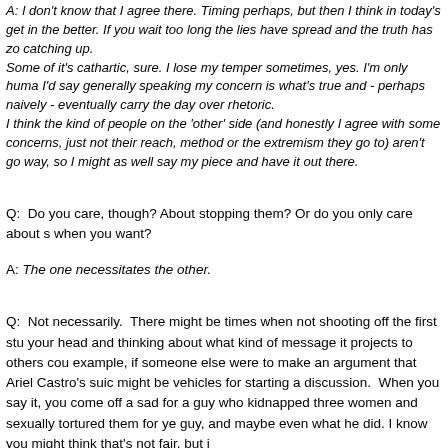A: I don't know that I agree there. Timing perhaps, but then I think in today's get in the better. If you wait too long the lies have spread and the truth has zo catching up. Some of it's cathartic, sure. I lose my temper sometimes, yes. I'm only huma I'd say generally speaking my concern is what's true and - perhaps naively - eventually carry the day over rhetoric. I think the kind of people on the 'other' side (and honestly I agree with some concerns, just not their reach, method or the extremism they go to) aren't go way, so I might as well say my piece and have it out there.
Q: Do you care, though? About stopping them? Or do you only care about s when you want?
A: The one necessitates the other.
Q: Not necessarily. There might be times when not shooting off the first stu your head and thinking about what kind of message it projects to others cou example, if someone else were to make an argument that Ariel Castro's suic might be vehicles for starting a discussion. When you say it, you come off a sad for a guy who kidnapped three women and sexually tortured them for ye guy, and maybe even what he did. I know you might think that's not fair, but i